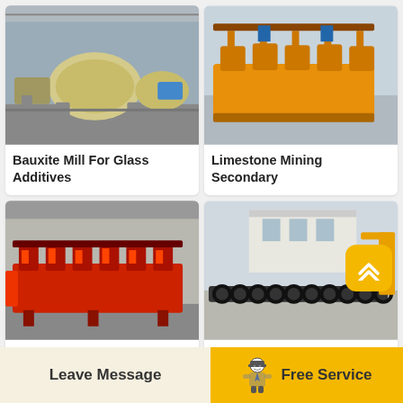[Figure (photo): Industrial ball mill machine (yellow/cream colored large cylindrical mills) inside a factory warehouse]
Bauxite Mill For Glass Additives
[Figure (photo): Orange industrial flotation machine/mineral processing equipment in a factory setting]
Limestone Mining Secondary
[Figure (photo): Red flotation machine/mineral beneficiation equipment with agitation mechanisms inside a warehouse]
Beneficiation Of High
[Figure (photo): Black spiral/screw conveyors or classifier equipment lined up outdoors in a factory yard]
Sic Iron Ore Flowsheet
Leave Message
Free Service